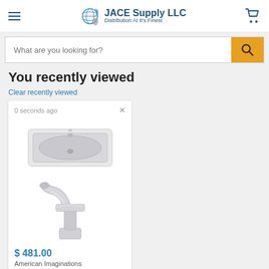JACE Supply LLC — Distribution At It's Finest
What are you looking for?
You recently viewed
Clear recently viewed
0 seconds ago
[Figure (photo): White rectangular drop-in bathroom sink and chrome waterfall faucet product images]
$ 481.00
American Imaginations